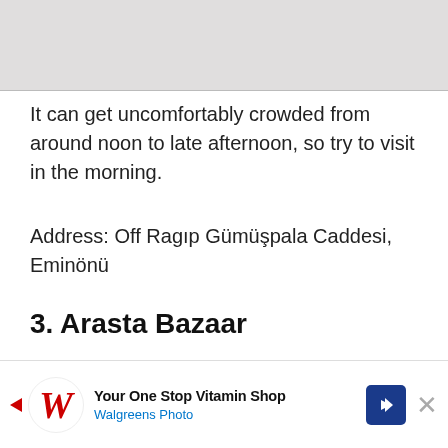[Figure (photo): Partial top image, cropped — light gray placeholder area representing the top of a previous photo]
It can get uncomfortably crowded from around noon to late afternoon, so try to visit in the morning.
Address: Off Ragıp Gümüşpala Caddesi, Eminönü
3. Arasta Bazaar
[Figure (photo): Colorful textiles and rugs hanging in the Arasta Bazaar, with stone arched doorway on the right side. Two people in colorful patterned clothing are visible in the center.]
[Figure (other): Advertisement banner: Walgreens Photo — Your One Stop Vitamin Shop]